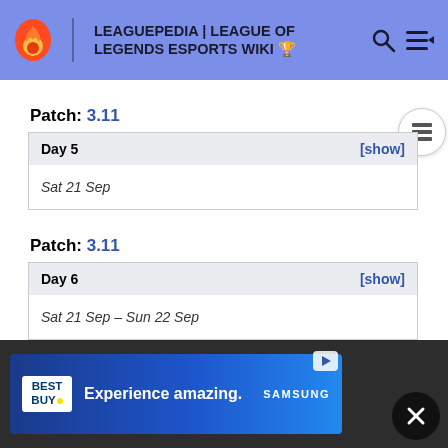LEAGUEPEDIA | LEAGUE OF LEGENDS ESPORTS WIKI
Patch: 3.11
| Day 5 | [show] |
| --- | --- |
| Sat 21 Sep |  |
Patch: 3.11
| Day 6 | [show] |
| --- | --- |
| Sat 21 Sep – Sun 22 Sep |  |
Patch: 3.11
| Quarterfinals | [show] |
| --- | --- |